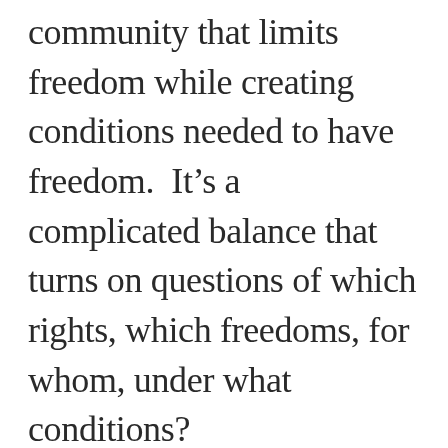community that limits freedom while creating conditions needed to have freedom.  It’s a complicated balance that turns on questions of which rights, which freedoms, for whom, under what conditions?